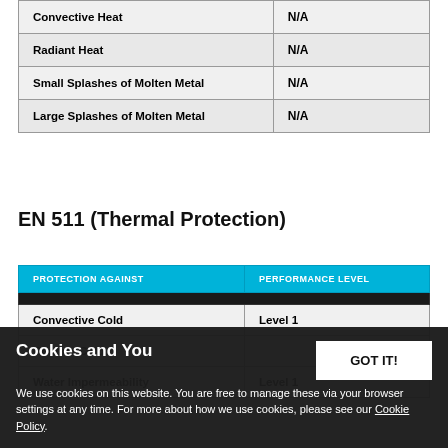|  |  |
| --- | --- |
| Convective Heat | N/A |
| Radiant Heat | N/A |
| Small Splashes of Molten Metal | N/A |
| Large Splashes of Molten Metal | N/A |
EN 511 (Thermal Protection)
| PROTECTION AGAINST | PERFORMANCE LEVEL |
| --- | --- |
| Convective Cold | Level 1 |
| Contact Cold |  |
| Water Impermeability | Level 1 |
Cookies and You
We use cookies on this website. You are free to manage these via your browser settings at any time. For more about how we use cookies, please see our Cookie Policy.